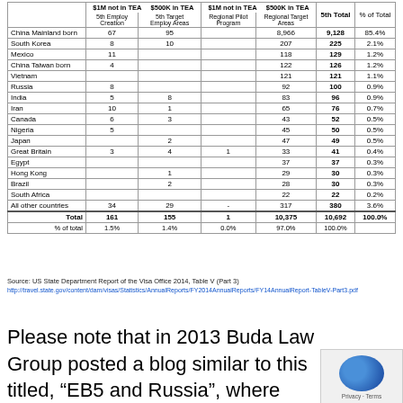|  | $1M not in TEA 5th Employ Creation | $500K in TEA 5th Target Employ Areas | $1M not in TEA Regional Pilot Program | $500K in TEA Regional Target Areas | 5th Total | % of Total |
| --- | --- | --- | --- | --- | --- | --- |
| China Mainland born | 67 | 95 |  | 8,966 | 9,128 | 85.4% |
| South Korea | 8 | 10 |  | 207 | 225 | 2.1% |
| Mexico | 11 |  |  | 118 | 129 | 1.2% |
| China Taiwan born | 4 |  |  | 122 | 126 | 1.2% |
| Vietnam |  |  |  | 121 | 121 | 1.1% |
| Russia | 8 |  |  | 92 | 100 | 0.9% |
| India | 5 | 8 |  | 83 | 96 | 0.9% |
| Iran | 10 | 1 |  | 65 | 76 | 0.7% |
| Canada | 6 | 3 |  | 43 | 52 | 0.5% |
| Nigeria | 5 |  |  | 45 | 50 | 0.5% |
| Japan |  | 2 |  | 47 | 49 | 0.5% |
| Great Britain | 3 | 4 | 1 | 33 | 41 | 0.4% |
| Egypt |  |  |  | 37 | 37 | 0.3% |
| Hong Kong |  | 1 |  | 29 | 30 | 0.3% |
| Brazil |  | 2 |  | 28 | 30 | 0.3% |
| South Africa |  |  |  | 22 | 22 | 0.2% |
| All other countries | 34 | 29 | - | 317 | 380 | 3.6% |
| Total | 161 | 155 | 1 | 10,375 | 10,692 | 100.0% |
| % of total | 1.5% | 1.4% | 0.0% | 97.0% | 100.0% |  |
Source: US State Department Report of the Visa Office 2014, Table V (Part 3)
http://travel.state.gov/content/dam/visas/Statistics/AnnualReports/FY2014AnnualReports/FY14AnnualReport-TableV-Part3.pdf
Please note that in 2013 Buda Law Group posted a blog similar to this titled, "EB5 and Russia", where Russia's EB-5 prospects were discussed. The number of applications in 2011